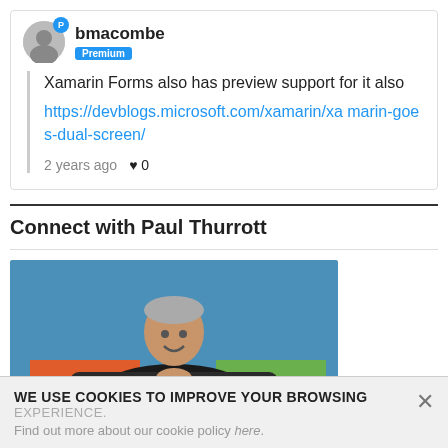bmacombe
Premium
Xamarin Forms also has preview support for it also https://devblogs.microsoft.com/xamarin/xamarin-goes-dual-screen/
2 years ago  ♥ 0
Connect with Paul Thurrott
[Figure (photo): Photo of Paul Thurrott leaning on colorful panels (orange, yellow, green) against a blue background, smiling at the camera.]
WE USE COOKIES TO IMPROVE YOUR BROWSING EXPERIENCE. Find out more about our cookie policy here.